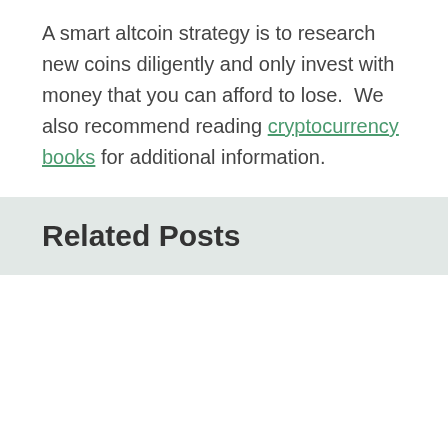A smart altcoin strategy is to research new coins diligently and only invest with money that you can afford to lose.  We also recommend reading cryptocurrency books for additional information.
Related Posts